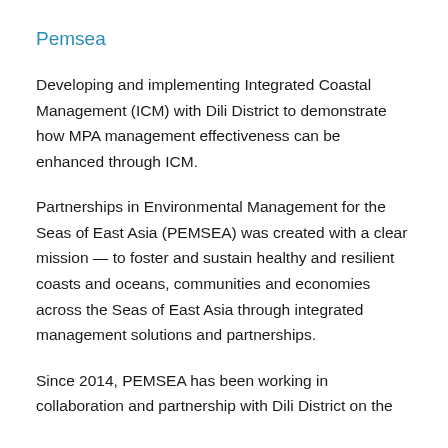Pemsea
Developing and implementing Integrated Coastal Management (ICM) with Dili District to demonstrate how MPA management effectiveness can be enhanced through ICM.
Partnerships in Environmental Management for the Seas of East Asia (PEMSEA) was created with a clear mission — to foster and sustain healthy and resilient coasts and oceans, communities and economies across the Seas of East Asia through integrated management solutions and partnerships.
Since 2014, PEMSEA has been working in collaboration and partnership with Dili District on the